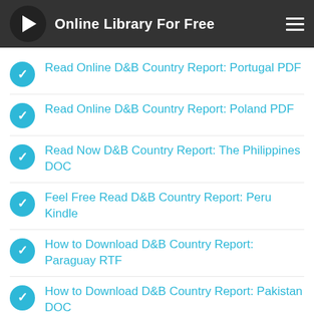Online Library For Free
Read Online D&B Country Report: Portugal PDF
Read Online D&B Country Report: Poland PDF
Read Now D&B Country Report: The Philippines DOC
Feel Free Read D&B Country Report: Peru Kindle
How to Download D&B Country Report: Paraguay RTF
How to Download D&B Country Report: Pakistan DOC